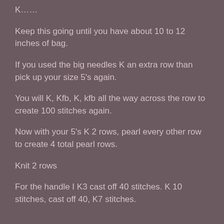K……
Keep this going until you have about 10 to 12 inches of bag.
If you used the big needles K an extra row than pick up your size 5's again.
You will K, Kfb, K, kfb all the way across the row to create 100 stitches again.
Now with your 5's K 2 rows, pearl every other row to create 4 total pearl rows.
Knit 2 rows
For the handle I K3 cast off 40 stitches. K 10 stitches, cast off 40, K7 stitches.